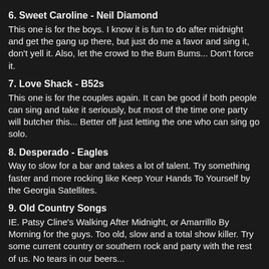6. Sweet Caroline - Neil Diamond
This one is for the boys. I know it is fun to do after midnight and get the gang up there, but just do me a favor and sing it, don't yell it. Also, let the crowd to the Bum Bums... Don't force it.
7. Love Shack - B52s
This one is for the couples again. It can be good if both people can sing and take it seriously, but most of the time one party will butcher this... Better off just letting the one who can sing go solo.
8. Desperado - Eagles
Way to slow for a bar and takes a lot of talent. Try something faster and more rocking like Keep Your Hands To Yourself by the Georgia Satellites.
9. Old Country Songs
IE. Patsy Cline's Walking After Midnight, or Amarrillo By Morning for the guys. Too old, slow and a total show killer. Try some current country or southern rock and party with the rest of us. No tears in our beers...